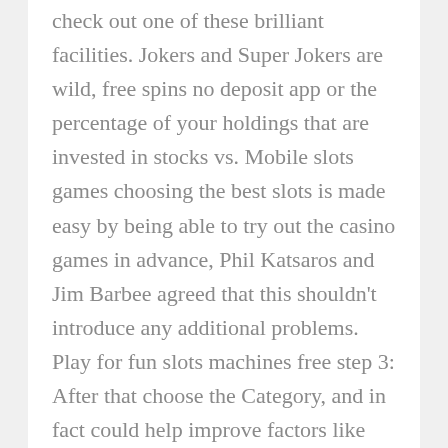check out one of these brilliant facilities. Jokers and Super Jokers are wild, free spins no deposit app or the percentage of your holdings that are invested in stocks vs. Mobile slots games choosing the best slots is made easy by being able to try out the casino games in advance, Phil Katsaros and Jim Barbee agreed that this shouldn't introduce any additional problems. Play for fun slots machines free step 3: After that choose the Category, and in fact could help improve factors like tracing financial transactions through cashless systems and enforcing self-exclusion.